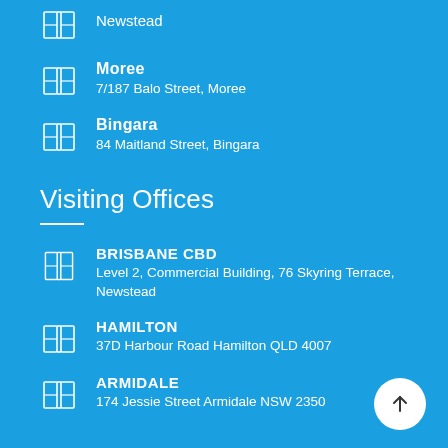Newstead
Moree
7/187 Balo Street, Moree
Bingara
84 Maitland Street, Bingara
Visiting Offices
BRISBANE CBD
Level 2, Commercial Building, 76 Skyring Terrace, Newstead
HAMILTON
37D Harbour Road Hamilton QLD 4007
ARMIDALE
174 Jessie Street Armidale NSW 2350